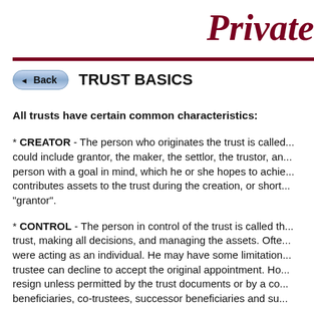Private
TRUST BASICS
All trusts have certain common characteristics:
* CREATOR - The person who originates the trust is called... could include grantor, the maker, the settlor, the trustor, an... person with a goal in mind, which he or she hopes to achie... contributes assets to the trust during the creation, or short... "grantor".
* CONTROL - The person in control of the trust is called th... trust, making all decisions, and managing the assets. Ofte... were acting as an individual. He may have some limitation... trustee can decline to accept the original appointment. Ho... resign unless permitted by the trust documents or by a co... beneficiaries, co-trustees, successor beneficiaries and su...